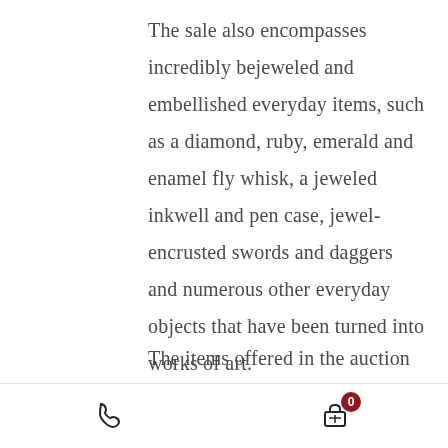The sale also encompasses incredibly bejeweled and embellished everyday items, such as a diamond, ruby, emerald and enamel fly whisk, a jeweled inkwell and pen case, jewel-encrusted swords and daggers and numerous other everyday objects that have been turned into works of art.
The items offered in the auction are from The Al Thani Collection, which
phone icon | cart icon with badge 0